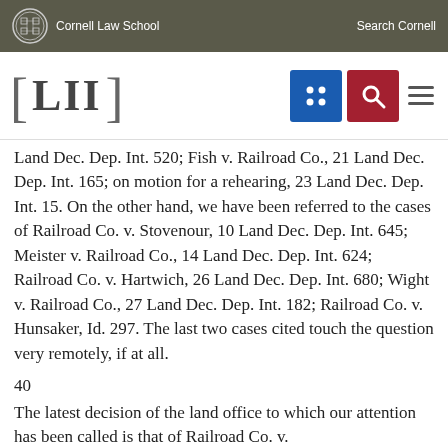Cornell Law School | Search Cornell
[LII]
Land Dec. Dep. Int. 520; Fish v. Railroad Co., 21 Land Dec. Dep. Int. 165; on motion for a rehearing, 23 Land Dec. Dep. Int. 15. On the other hand, we have been referred to the cases of Railroad Co. v. Stovenour, 10 Land Dec. Dep. Int. 645; Meister v. Railroad Co., 14 Land Dec. Dep. Int. 624; Railroad Co. v. Hartwich, 26 Land Dec. Dep. Int. 680; Wight v. Railroad Co., 27 Land Dec. Dep. Int. 182; Railroad Co. v. Hunsaker, Id. 297. The last two cases cited touch the question very remotely, if at all.
40
The latest decision of the land office to which our attention has been called is that of Railroad Co. v.